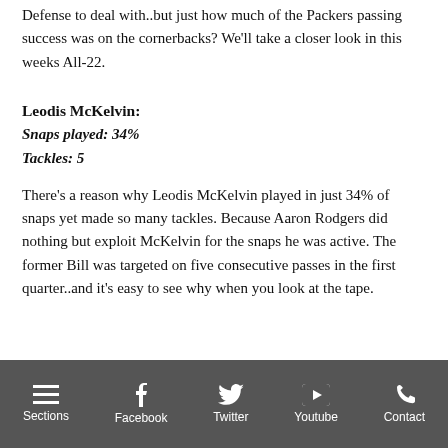Defense to deal with..but just how much of the Packers passing success was on the cornerbacks? We'll take a closer look in this weeks All-22.
Leodis McKelvin:
Snaps played: 34%
Tackles: 5
There's a reason why Leodis McKelvin played in just 34% of snaps yet made so many tackles. Because Aaron Rodgers did nothing but exploit McKelvin for the snaps he was active. The former Bill was targeted on five consecutive passes in the first quarter..and it's easy to see why when you look at the tape.
Sections | Facebook | Twitter | Youtube | Contact